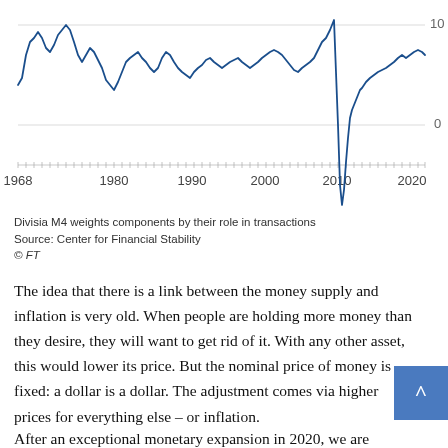[Figure (continuous-plot): Line chart showing Divisia M4 money supply growth from 1968 to ~2023. The y-axis shows values with labels at 0 and 10. The line fluctuates between roughly 0 and 10 for most of the period, with a dramatic drop to approximately -15 around 2010, then recovering sharply.]
Divisia M4 weights components by their role in transactions
Source: Center for Financial Stability
© FT
The idea that there is a link between the money supply and inflation is very old. When people are holding more money than they desire, they will want to get rid of it. With any other asset, this would lower its price. But the nominal price of money is fixed: a dollar is a dollar. The adjustment comes via higher prices for everything else – or inflation.
After an exceptional monetary expansion in 2020, we are